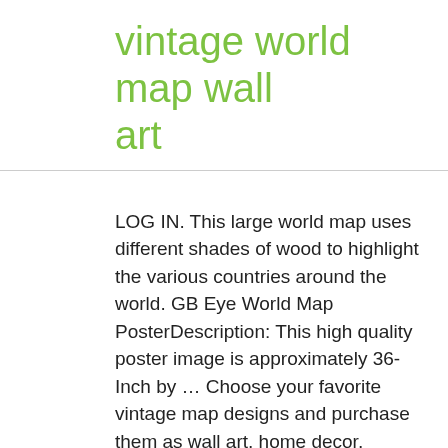vintage world map wall art
LOG IN. This large world map uses different shades of wood to highlight the various countries around the world. GB Eye World Map PosterDescription: This high quality poster image is approximately 36-Inch by … Choose your favorite vintage map designs and purchase them as wall art, home decor, phone cases, tote bags, and more! Shop for vintage world map art from the world's greatest living artists. 95. Add to the charm of your living room or office with vintage maps art prints. Wall Maps. Join Wall Art Prints. Get it Wednesday, Dec 2. Antique map poster. Showcasing a map of the world in silver, black, and blue tones, this glossy design is dotted with distressed details for a touch of antique inspiration. Shop for world